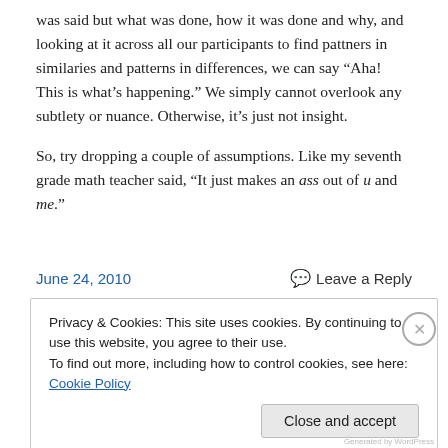was said but what was done, how it was done and why, and looking at it across all our participants to find pattners in similaries and patterns in differences, we can say “Aha! This is what's happening.” We simply cannot overlook any subtlety or nuance. Otherwise, it’s just not insight.
So, try dropping a couple of assumptions. Like my seventh grade math teacher said, “It just makes an ass out of u and me.”
June 24, 2010
Leave a Reply
Privacy & Cookies: This site uses cookies. By continuing to use this website, you agree to their use.
To find out more, including how to control cookies, see here: Cookie Policy